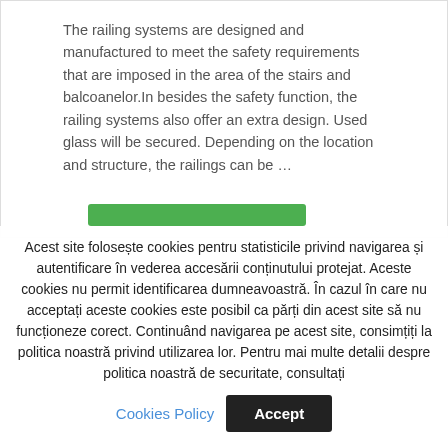The railing systems are designed and manufactured to meet the safety requirements that are imposed in the area of the stairs and balcoanelor.In besides the safety function, the railing systems also offer an extra design. Used glass will be secured. Depending on the location and structure, the railings can be …
Acest site folosește cookies pentru statisticile privind navigarea și autentificare în vederea accesării conținutului protejat. Aceste cookies nu permit identificarea dumneavoastră. În cazul în care nu acceptați aceste cookies este posibil ca părți din acest site să nu funcționeze corect. Continuând navigarea pe acest site, consimțiți la politica noastră privind utilizarea lor. Pentru mai multe detalii despre politica noastră de securitate, consultați
Cookies Policy
Accept